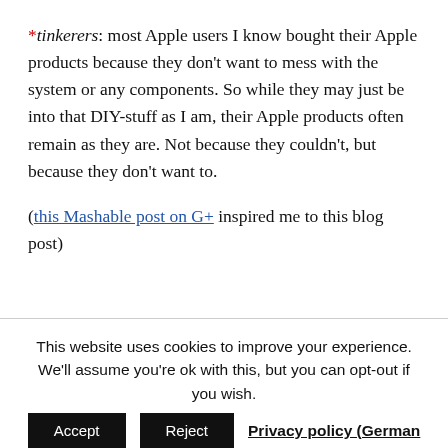*tinkerers: most Apple users I know bought their Apple products because they don't want to mess with the system or any components. So while they may just be into that DIY-stuff as I am, their Apple products often remain as they are. Not because they couldn't, but because they don't want to.
(this Mashable post on G+ inspired me to this blog post)
This website uses cookies to improve your experience. We'll assume you're ok with this, but you can opt-out if you wish. Accept Reject Privacy policy (German only)